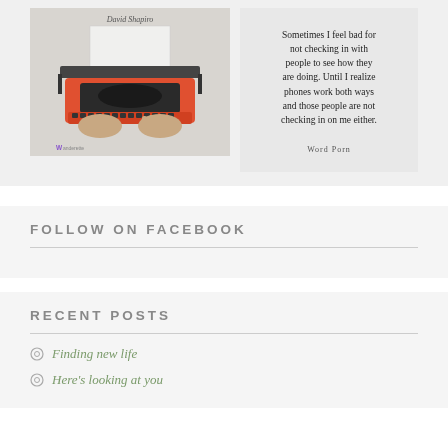[Figure (photo): Photo of a red/orange typewriter with hands typing on it and a blank sheet of paper. Logo 'W Wanderette' visible at bottom left. Text at top reads 'David Shapiro' in cursive.]
[Figure (photo): Text quote image on light background: 'Sometimes I feel bad for not checking in with people to see how they are doing. Until I realize phones work both ways and those people are not checking in on me either.' Attribution: Word Porn]
FOLLOW ON FACEBOOK
RECENT POSTS
Finding new life
Here's looking at you